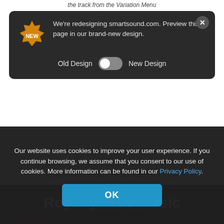the track from the Variation Menu
We're redesigning smartsound.com. Preview this page in our brand-new design.
Old Design   New Design
Royalty Free Music » Music Library » Indie
Score   Unrevealed Truth
Royalty Free Music
GENRE
Our website uses cookies to improve your user experience. If you continue browsing, we assume that you consent to our use of cookies. More information can be found in our Privacy Policy.
OK